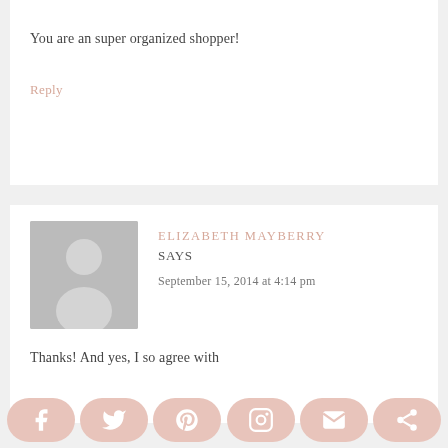You are an super organized shopper!
Reply
ELIZABETH MAYBERRY SAYS
September 15, 2014 at 4:14 pm
[Figure (illustration): Default avatar placeholder image — grey silhouette of a person]
Thanks! And yes, I so agree with
[Figure (infographic): Social sharing bar with icons for Facebook, Twitter, Pinterest, Instagram, email, and share]